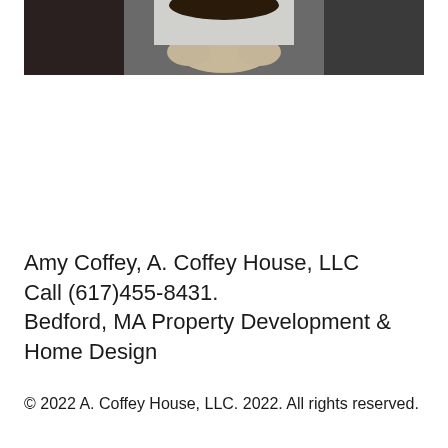[Figure (photo): Partial photo of a person with hands clasped, cropped at the top of the page. Dark background with a person in a light-colored top.]
Amy Coffey, A. Coffey House, LLC
Call (617)455-8431.
Bedford, MA Property Development & Home Design
© 2022 A. Coffey House, LLC. 2022. All rights reserved.